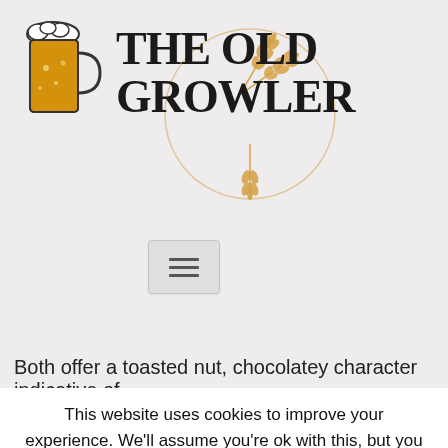[Figure (logo): The Old Growler logo with beer mug illustration and wheat circle decoration]
[Figure (other): Hamburger/menu button icon with three horizontal lines]
Both offer a toasted nut, chocolatey character indicative of
This website uses cookies to improve your experience. We'll assume you're ok with this, but you can opt-out if you wish.